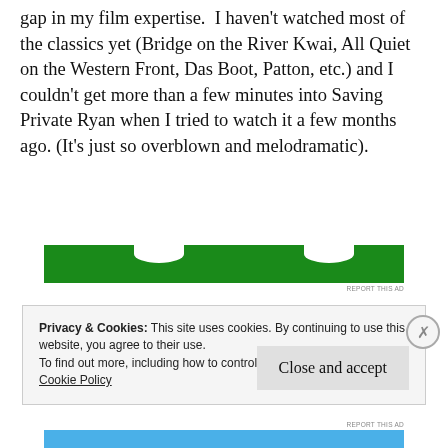gap in my film expertise. I haven't watched most of the classics yet (Bridge on the River Kwai, All Quiet on the Western Front, Das Boot, Patton, etc.) and I couldn't get more than a few minutes into Saving Private Ryan when I tried to watch it a few months ago. (It's just so overblown and melodramatic).
[Figure (other): Green advertisement banner with white bumps/cutouts at top]
REPORT THIS AD
Privacy & Cookies: This site uses cookies. By continuing to use this website, you agree to their use.
To find out more, including how to control cookies, see here:
Cookie Policy

Close and accept